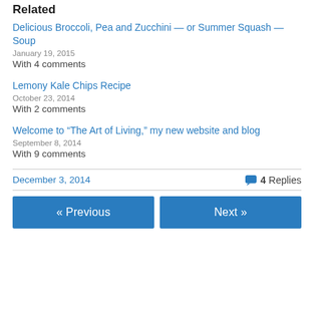Related
Delicious Broccoli, Pea and Zucchini — or Summer Squash — Soup
January 19, 2015
With 4 comments
Lemony Kale Chips Recipe
October 23, 2014
With 2 comments
Welcome to “The Art of Living,” my new website and blog
September 8, 2014
With 9 comments
December 3, 2014    4 Replies
« Previous    Next »